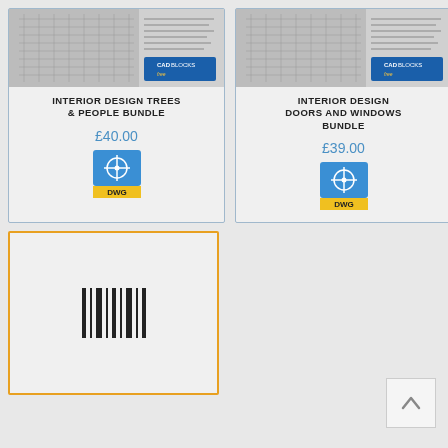[Figure (screenshot): Product card for Interior Design Trees & People Bundle - CADblocksfree product listing showing thumbnail image, title, price £40.00 and DWG icon]
[Figure (screenshot): Product card for Interior Design Doors and Windows Bundle - CADblocksfree product listing showing thumbnail image, title, price £39.00 and DWG icon]
[Figure (other): Orange-bordered card with barcode/loading indicator lines in the center - appears to be a product card loading or placeholder]